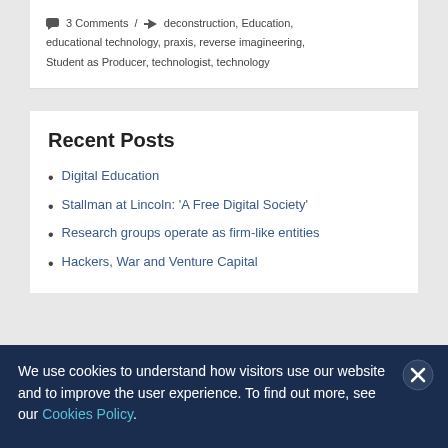💬 3 Comments / 🏷 deconstruction, Education, educational technology, praxis, reverse imagineering, Student as Producer, technologist, technology
Recent Posts
Digital Education
Stallman at Lincoln: 'A Free Digital Society'
Research groups operate as firm-like entities
Hackers, War and Venture Capital
We use cookies to understand how visitors use our website and to improve the user experience. To find out more, see our Cookies Policy.